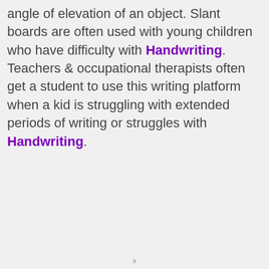angle of elevation of an object. Slant boards are often used with young children who have difficulty with Handwriting. Teachers & occupational therapists often get a student to use this writing platform when a kid is struggling with extended periods of writing or struggles with Handwriting.
x